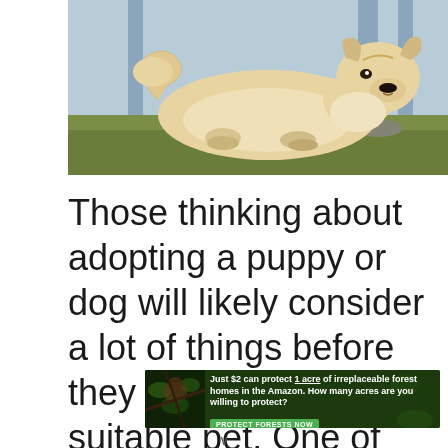[Figure (photo): A large Akita dog with cream and golden fur lying on green grass, with a blurred outdoor background of trees and a building.]
Those thinking about adopting a puppy or dog will likely consider a lot of things before they search for a suitable pet. One of the things to
[Figure (other): Advertisement banner with dark green forest background. Text reads: 'Just $2 can protect 1 acre of irreplaceable forest homes in the Amazon. How many acres are you willing to protect?' with a green button labeled 'PROTECT FORESTS NOW'. Left side shows an image of an orangutan in foliage.]